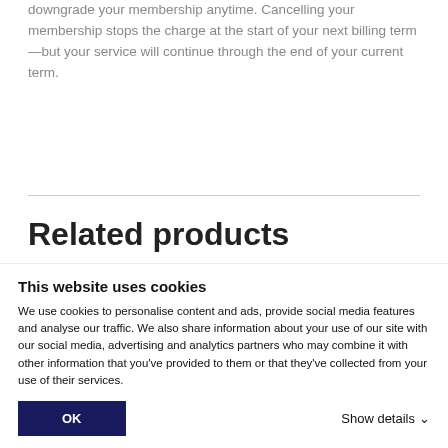downgrade your membership anytime. Cancelling your membership stops the charge at the start of your next billing term—but your service will continue through the end of your current term.
Related products
[Figure (screenshot): Partial view of related products section showing two product thumbnails — one gray and one brown/tan colored.]
This website uses cookies
We use cookies to personalise content and ads, provide social media features and analyse our traffic. We also share information about your use of our site with our social media, advertising and analytics partners who may combine it with other information that you've provided to them or that they've collected from your use of their services.